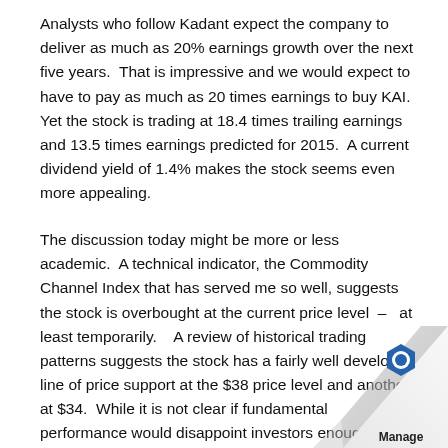Analysts who follow Kadant expect the company to deliver as much as 20% earnings growth over the next five years.  That is impressive and we would expect to have to pay as much as 20 times earnings to buy KAI.  Yet the stock is trading at 18.4 times trailing earnings and 13.5 times earnings predicted for 2015.  A current dividend yield of 1.4% makes the stock seems even more appealing.
The discussion today might be more or less academic.  A technical indicator, the Commodity Channel Index that has served me so well, suggests the stock is overbought at the current price level  –  at least temporarily.    A review of historical trading patterns suggests the stock has a fairly well developed line of price support at the $38 price level and another at $34.  While it is not clear if fundamental performance would disappoint investors enough to push the stock down to the $34 price level, it does seem po
[Figure (logo): Page curl effect in bottom-right corner with a blue hexagonal logo icon and the word 'Manage' below it]